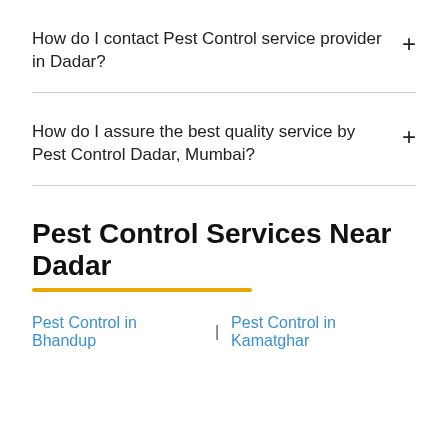How do I contact Pest Control service provider in Dadar?
How do I assure the best quality service by Pest Control Dadar, Mumbai?
Pest Control Services Near Dadar
Pest Control in Bhandup | Pest Control in Kamatghar